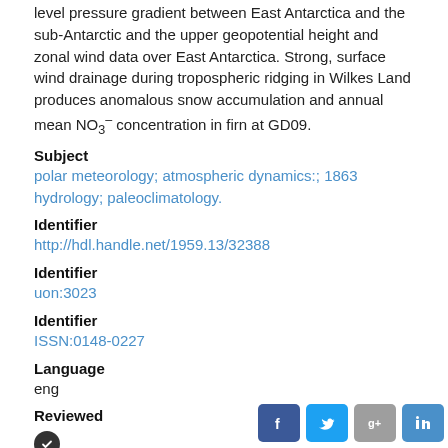level pressure gradient between East Antarctica and the sub-Antarctic and the upper geopotential height and zonal wind data over East Antarctica. Strong, surface wind drainage during tropospheric ridging in Wilkes Land produces anomalous snow accumulation and annual mean NO₃⁻ concentration in firn at GD09.
Subject
polar meteorology; atmospheric dynamics:; 1863 hydrology; paleoclimatology.
Identifier
http://hdl.handle.net/1959.13/32388
Identifier
uon:3023
Identifier
ISSN:0148-0227
Language
eng
Reviewed
[Figure (other): Dark circular checkmark badge icon indicating reviewed status]